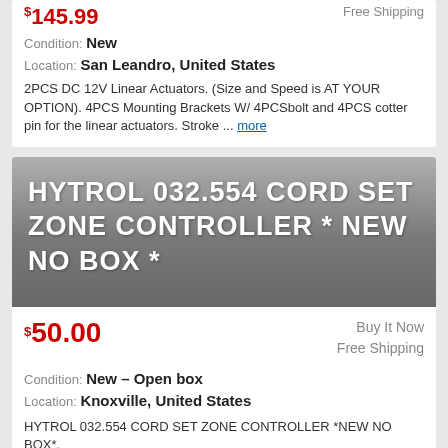$145.99
Free Shipping
Condition: New
Location: San Leandro, United States
2PCS DC 12V Linear Actuators. (Size and Speed is AT YOUR OPTION). 4PCS Mounting Brackets W/ 4PCSbolt and 4PCS cotter pin for the linear actuators. Stroke ... more
[Figure (screenshot): Product listing banner with gray gradient background showing text: HYTROL 032.554 CORD SET ZONE CONTROLLER * NEW NO BOX *]
$50.00
Buy It Now
Free Shipping
Condition: New – Open box
Location: Knoxville, United States
HYTROL 032.554 CORD SET ZONE CONTROLLER *NEW NO BOX*.
[Figure (logo): yibei-tech logo with stylized yb letters in dark blue, followed by yibei-tech text]
[Figure (photo): Partial view of a mechanical/electrical component, black circular part visible at bottom of card]